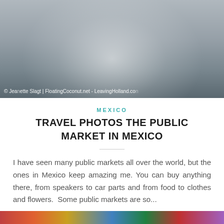[Figure (photo): Photo of people at a public market in Mexico, with a semi-transparent circular overlay in the center. Watermark reads: © Jeanette Slagt | FloatingCoconut.net - LeavingHolland.co]
MEXICO
TRAVEL PHOTOS THE PUBLIC MARKET IN MEXICO
I have seen many public markets all over the world, but the ones in Mexico keep amazing me. You can buy anything there, from speakers to car parts and from food to clothes and flowers.  Some public markets are so...
By JC from Holland	20/10/2021
[Figure (photo): Partial view of a colorful image strip at the bottom of the page]